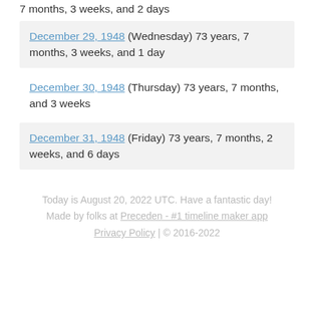7 months, 3 weeks, and 2 days
December 29, 1948 (Wednesday) 73 years, 7 months, 3 weeks, and 1 day
December 30, 1948 (Thursday) 73 years, 7 months, and 3 weeks
December 31, 1948 (Friday) 73 years, 7 months, 2 weeks, and 6 days
Today is August 20, 2022 UTC. Have a fantastic day! Made by folks at Preceden - #1 timeline maker app Privacy Policy | © 2016-2022